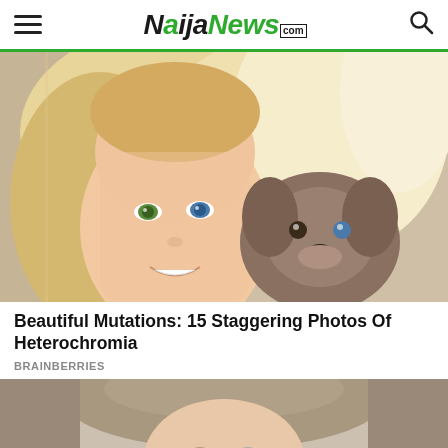NaijаNews.com
[Figure (photo): A smiling blonde woman with heterochromia (one green eye, one blue eye) holding a puppy that also has one blue eye]
Beautiful Mutations: 15 Staggering Photos Of Heterochromia
BRAINBERRIES
[Figure (photo): Close-up portrait of a young person with light brown hair, partially visible, showing heterochromia]